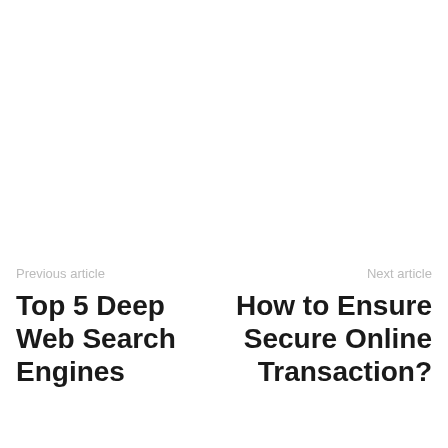Previous article
Top 5 Deep Web Search Engines
Next article
How to Ensure Secure Online Transaction?